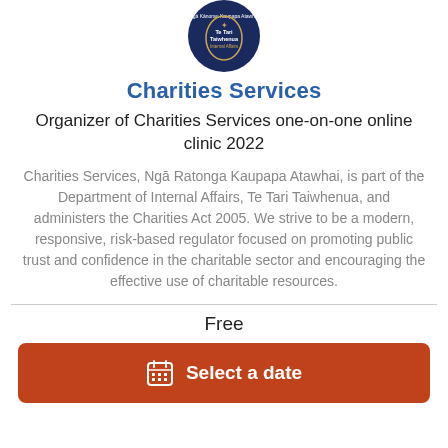[Figure (logo): Department of Internal Affairs Te Tari Taiwhenua circular logo with dark blue background and white crest/text]
Charities Services
Organizer of Charities Services one-on-one online clinic 2022
Charities Services, Ngā Ratonga Kaupapa Atawhai, is part of the Department of Internal Affairs, Te Tari Taiwhenua, and administers the Charities Act 2005. We strive to be a modern, responsive, risk-based regulator focused on promoting public trust and confidence in the charitable sector and encouraging the effective use of charitable resources.
Free
Select a date